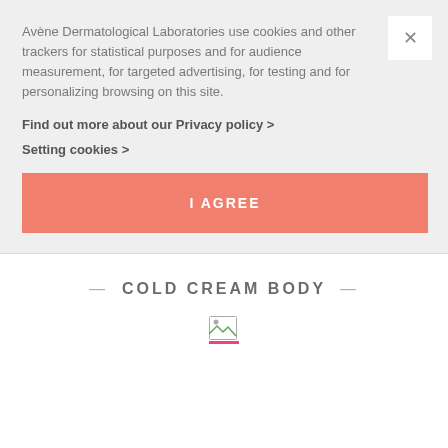Avène Dermatological Laboratories use cookies and other trackers for statistical purposes and for audience measurement, for targeted advertising, for testing and for personalizing browsing on this site.
Find out more about our Privacy policy >
Setting cookies >
I AGREE
COLD CREAM BODY
[Figure (other): Broken/unloaded image placeholder icon]